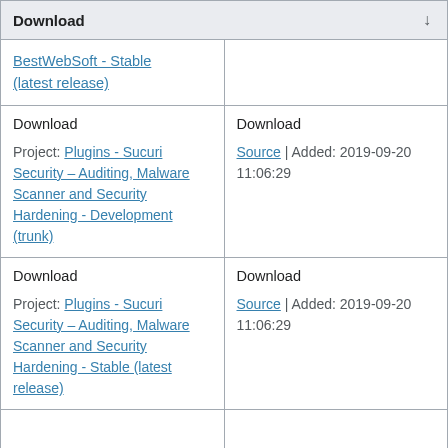Download
| BestWebSoft - Stable (latest release) |  |
| Download

Project: Plugins - Sucuri Security – Auditing, Malware Scanner and Security Hardening - Development (trunk) | Download

Source | Added: 2019-09-20 11:06:29 |
| Download

Project: Plugins - Sucuri Security – Auditing, Malware Scanner and Security Hardening - Stable (latest release) | Download

Source | Added: 2019-09-20 11:06:29 |